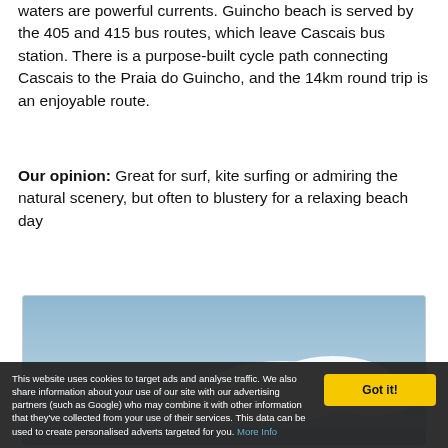waters are powerful currents. Guincho beach is served by the 405 and 415 bus routes, which leave Cascais bus station. There is a purpose-built cycle path connecting Cascais to the Praia do Guincho, and the 14km round trip is an enjoyable route.
Our opinion: Great for surf, kite surfing or admiring the natural scenery, but often to blustery for a relaxing beach day
[Figure (photo): Photograph of a cloudy sky over what appears to be a coastal landscape, with blue-grey sky and white clouds.]
This website uses cookies to target ads and analyse traffic. We also share information about your use of our site with our advertising partners (such as Google) who may combine it with other information that they've collected from your use of their services. This data can be used to create personalised adverts targeted for you. More Info